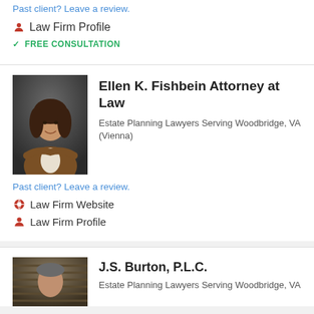Past client? Leave a review.
Law Firm Profile
FREE CONSULTATION
Ellen K. Fishbein Attorney at Law
Estate Planning Lawyers Serving Woodbridge, VA (Vienna)
Past client? Leave a review.
Law Firm Website
Law Firm Profile
J.S. Burton, P.L.C.
Estate Planning Lawyers Serving Woodbridge, VA